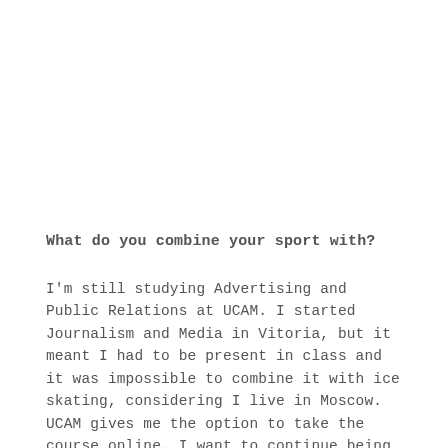What do you combine your sport with?
I'm still studying Advertising and Public Relations at UCAM. I started Journalism and Media in Vitoria, but it meant I had to be present in class and it was impossible to combine it with ice skating, considering I live in Moscow. UCAM gives me the option to take the course online. I want to continue being sports active, but I'm not set on anything yet. I like the world of art, dance and body expression.